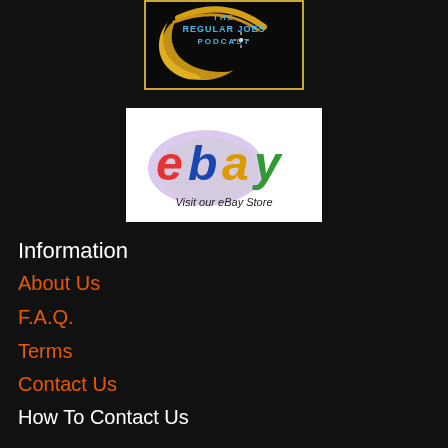[Figure (logo): The Regular Joes Podcast logo — dark background with a gold crescent moon and blue/white text]
[Figure (logo): eBay logo banner with text 'Visit our eBay Store' on white background]
Information
About Us
F.A.Q.
Terms
Contact Us
How To Contact Us